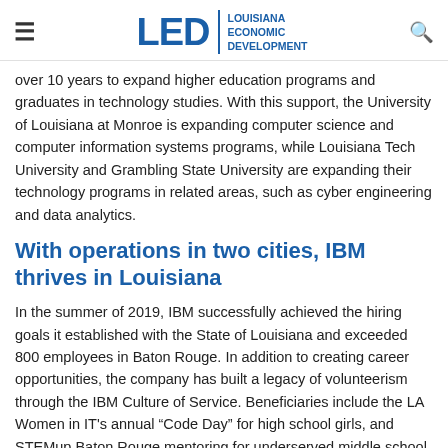LED | LOUISIANA ECONOMIC DEVELOPMENT
over 10 years to expand higher education programs and graduates in technology studies. With this support, the University of Louisiana at Monroe is expanding computer science and computer information systems programs, while Louisiana Tech University and Grambling State University are expanding their technology programs in related areas, such as cyber engineering and data analytics.
With operations in two cities, IBM thrives in Louisiana
In the summer of 2019, IBM successfully achieved the hiring goals it established with the State of Louisiana and exceeded 800 employees in Baton Rouge. In addition to creating career opportunities, the company has built a legacy of volunteerism through the IBM Culture of Service. Beneficiaries include the LA Women in IT's annual “Code Day” for high school girls, and STEMup Baton Rouge mentoring for underserved middle school students. These and other nonprofits have benefited from the support of IBM's Baton Rouge employees.